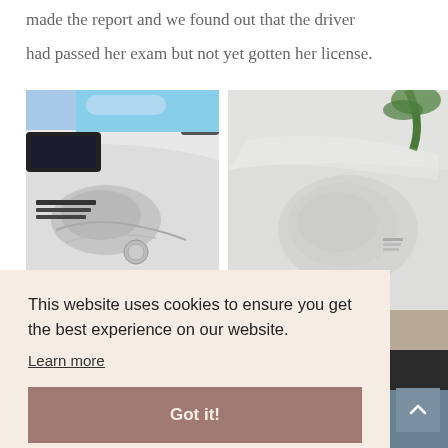made the report and we found out that the driver had passed her exam but not yet gotten her license.
[Figure (photo): Close-up photo of a white car with front bumper damage/dent]
[Figure (photo): Close-up photo of white car body panel with dent/damage]
This website uses cookies to ensure you get the best experience on our website.
Learn more
Got it!
[Figure (photo): Partially visible photo at bottom left of page]
[Figure (photo): Partially visible photo at bottom right of page, dark scene]